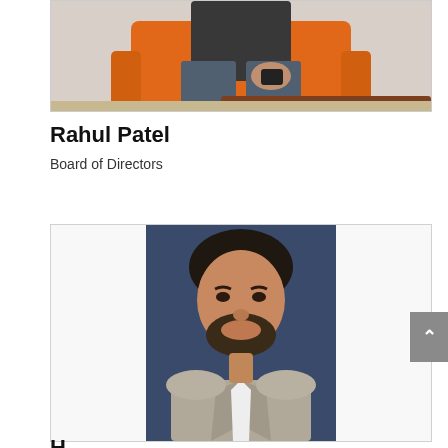[Figure (photo): Photo of Rahul Patel sitting on an orange chair holding a device, partial view showing lower body and hands]
Rahul Patel
Board of Directors
[Figure (photo): Professional headshot of a man in a grey suit with white shirt, smiling, against a blue background]
H... P...